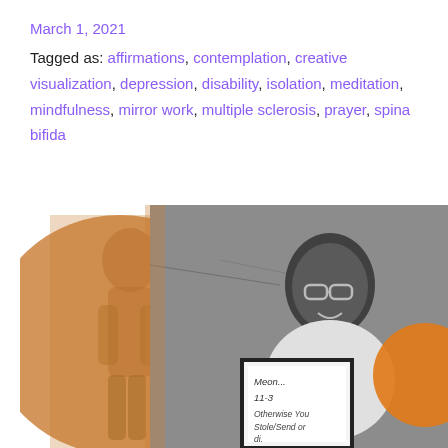March 1, 2021
Tagged as: affirmations, contemplation, creative visualization, depression, disability, isolation, meditation, mindfulness, mirror work, multiple sclerosis, prayer, spina bifida
[Figure (photo): Composite image: left side shows an orange-tinted/sepia figure of a person standing, overlaid on an orange circular shape. Right side shows a black-and-white photo of a smiling woman with glasses, wearing a white t-shirt, seated and holding a framed sign with handwritten text reading 'Meon... 11-3 Otherwise You Stole/Send or...'. An orange circle is partially visible on the right edge.]